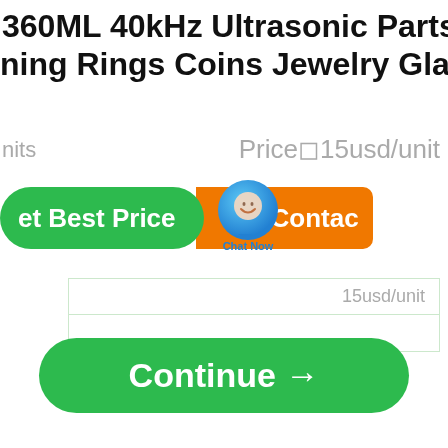360ML 40kHz Ultrasonic Parts W... ning Rings Coins Jewelry Glass...
units   Price∏15usd/unit
[Figure (screenshot): E-commerce product page UI with 'Get Best Price' green button, a blue chat bubble 'Chat Now' overlay, and an orange 'Contact' button with envelope icon]
15usd/unit
Continue →